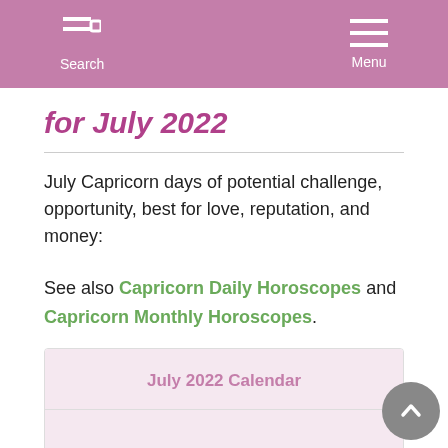Search  Menu
for July 2022
July Capricorn days of potential challenge, opportunity, best for love, reputation, and money:
See also Capricorn Daily Horoscopes and Capricorn Monthly Horoscopes.
| Su | Mo | Tu | We | Th | Fr | Sa |
| --- | --- | --- | --- | --- | --- | --- |